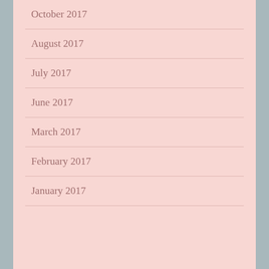October 2017
August 2017
July 2017
June 2017
March 2017
February 2017
January 2017
Categories
#gayrightsarehumanrights